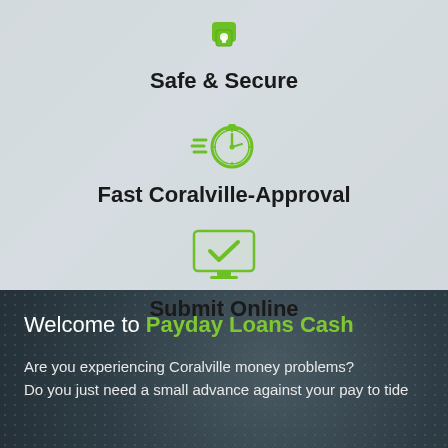[Figure (illustration): Green shield/lock icon for Safe & Secure]
Safe & Secure
[Figure (illustration): Green stopwatch/speed icon for Fast Coralville-Approval]
Fast Coralville-Approval
[Figure (illustration): Green monitor/checkmark icon for Submit Online]
Submit Online
Welcome to Payday Loans Cash
Are you experiencing Coralville money problems? Do you just need a small advance against your pay to tide